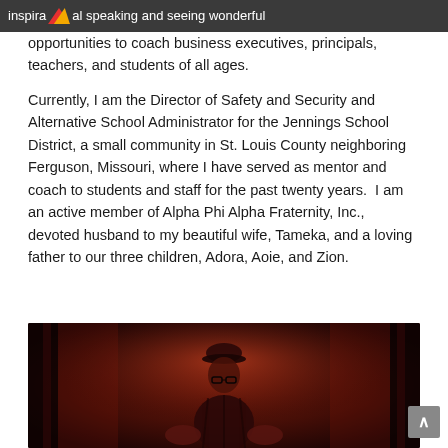inspirational speaking and seeing wonderful
opportunities to coach business executives, principals, teachers, and students of all ages.
Currently, I am the Director of Safety and Security and Alternative School Administrator for the Jennings School District, a small community in St. Louis County neighboring Ferguson, Missouri, where I have served as mentor and coach to students and staff for the past twenty years.  I am an active member of Alpha Phi Alpha Fraternity, Inc., devoted husband to my beautiful wife, Tameka, and a loving father to our three children, Adora, Aoie, and Zion.
[Figure (photo): A man wearing a cap and jacket photographed in dark reddish lighting, appearing to be speaking or performing on stage.]